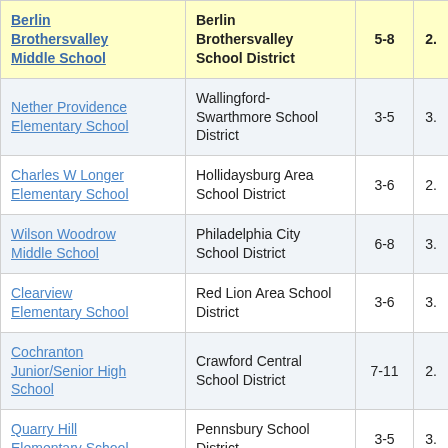| School | District | Grades |  |
| --- | --- | --- | --- |
| Berlin Brothersvalley Middle School | Berlin Brothersvalley School District | 5-8 | 2. |
| Nether Providence Elementary School | Wallingford-Swarthmore School District | 3-5 | 3. |
| Charles W Longer Elementary School | Hollidaysburg Area School District | 3-6 | 2. |
| Wilson Woodrow Middle School | Philadelphia City School District | 6-8 | 3. |
| Clearview Elementary School | Red Lion Area School District | 3-6 | 3. |
| Cochranton Junior/Senior High School | Crawford Central School District | 7-11 | 2. |
| Quarry Hill Elementary School | Pennsbury School District | 3-5 | 3. |
| (truncated) | (truncated) |  |  |